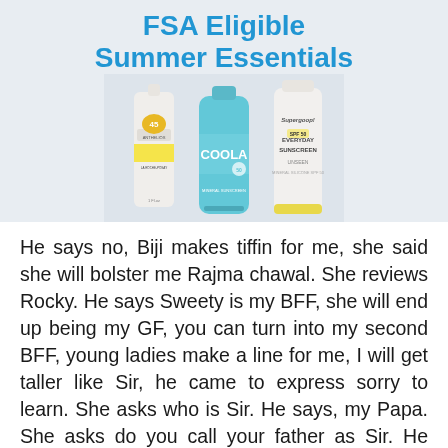FSA Eligible Summer Essentials
[Figure (photo): Three sunscreen product bottles/tubes: La Roche-Posay Anthelios, COOLA SPF, and Supergoop Everyday Sunscreen, arranged on a light grey background.]
He says no, Biji makes tiffin for me, she said she will bolster me Rajma chawal. She reviews Rocky. He says Sweety is my BFF, she will end up being my GF, you can turn into my second BFF, young ladies make a line for me, I will get taller like Sir, he came to express sorry to learn. She asks who is Sir. He says, my Papa. She asks do you call your father as Sir. He says he doesn't care for me